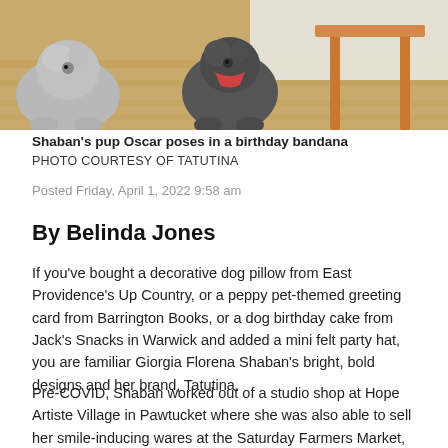[Figure (photo): Two fluffy dogs (one gray/white on left, one dark gray on right) photographed indoors on hardwood floors near wooden furniture. The right dog appears to be wearing a birthday bandana.]
Shaban's pup Oscar poses in a birthday bandana
PHOTO COURTESY OF TATUTINA
Posted Friday, April 1, 2022 9:58 am
By Belinda Jones
If you've bought a decorative dog pillow from East Providence's Up Country, or a peppy pet-themed greeting card from Barrington Books, or a dog birthday cake from Jack's Snacks in Warwick and added a mini felt party hat, you are familiar Giorgia Florena Shaban's bright, bold designs and her brand, Tatutina.
Pre-COVID, Shaban worked out of a studio shop at Hope Artiste Village in Pawtucket where she was also able to sell her smile-inducing wares at the Saturday Farmers Market, thoroughly enjoying the sense of